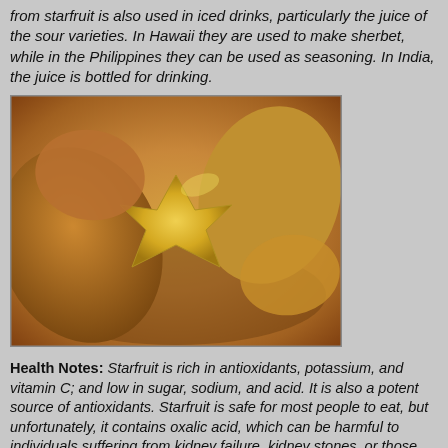from starfruit is also used in iced drinks, particularly the juice of the sour varieties. In Hawaii they are used to make sherbet, while in the Philippines they can be used as seasoning. In India, the juice is bottled for drinking.
[Figure (photo): Photo of starfruit pieces in a bowl, showing the distinctive star shape when cut crosswise, with yellow-orange coloring]
Health Notes: Starfruit is rich in antioxidants, potassium, and vitamin C; and low in sugar, sodium, and acid. It is also a potent source of antioxidants. Starfruit is safe for most people to eat, but unfortunately, it contains oxalic acid, which can be harmful to individuals suffering from kidney failure, kidney stones, or those under kidney dialysis treatment. Consumption by those with kidney failure can produce hiccups, vomiting, nausea, and mental confusion. Fatal